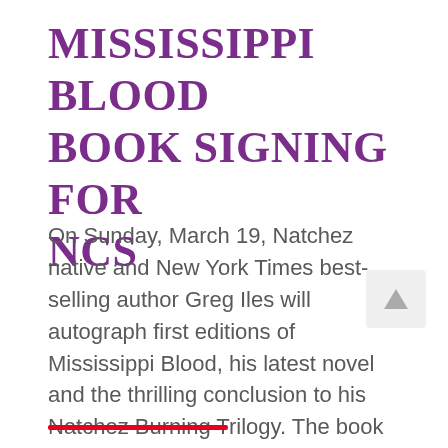Mississippi Blood Book Signing for NCS
On Sunday, March 19, Natchez native and New York Times best-selling author Greg Iles will autograph first editions of Mississippi Blood, his latest novel and the thrilling conclusion to his Natchez Burning Trilogy. The book signing will be held at Dunleith (84 Homochitto Street in Natchez) between...